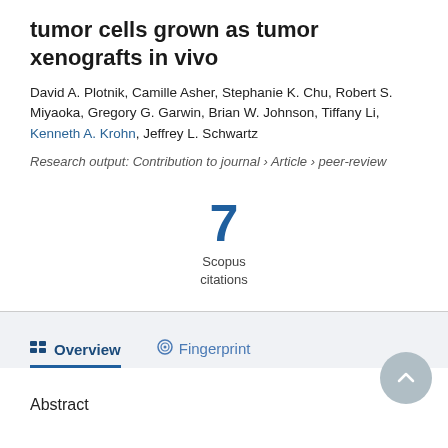tumor cells grown as tumor xenografts in vivo
David A. Plotnik, Camille Asher, Stephanie K. Chu, Robert S. Miyaoka, Gregory G. Garwin, Brian W. Johnson, Tiffany Li, Kenneth A. Krohn, Jeffrey L. Schwartz
Research output: Contribution to journal › Article › peer-review
[Figure (infographic): Scopus citations count showing the number 7 in large blue bold text with 'Scopus citations' label below]
Overview
Fingerprint
Abstract